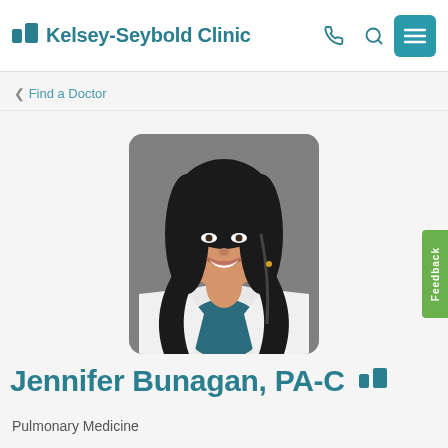Kelsey-Seybold Clinic
< Find a Doctor
[Figure (photo): Professional headshot of Jennifer Bunagan, PA-C, a woman with long dark wavy hair, smiling, wearing a white lab coat over a teal top, against a gray background.]
Jennifer Bunagan, PA-C
Pulmonary Medicine